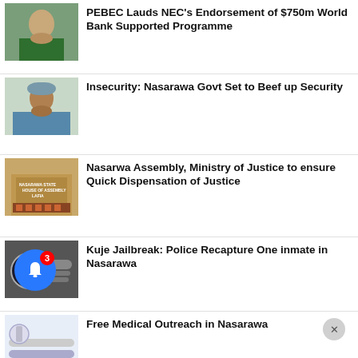PEBEC Lauds NEC's Endorsement of $750m World Bank Supported Programme
Insecurity: Nasarawa Govt Set to Beef up Security
Nasarwa Assembly, Ministry of Justice to ensure Quick Dispensation of Justice
Kuje Jailbreak: Police Recapture One inmate in Nasarawa
Free Medical Outreach in Nasarawa
[Figure (photo): Thumbnail of a woman in green outfit]
[Figure (photo): Thumbnail of a man in traditional attire]
[Figure (photo): Thumbnail of Nasarawa State House of Assembly, Lafia building]
[Figure (photo): Thumbnail of police handcuffs and badge]
[Figure (photo): Thumbnail of medical equipment]